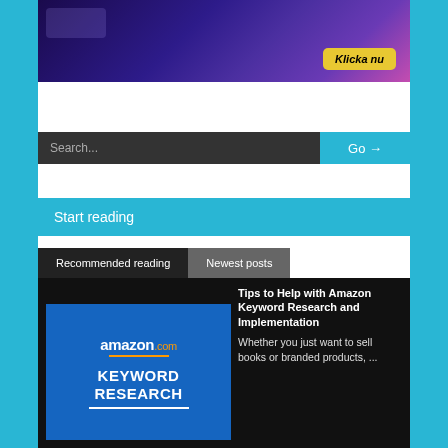[Figure (illustration): Purple/blue promotional banner with gaming/mobile app theme and yellow 'Klicka nu' button]
Search...
Go →
Start reading
Recommended reading
Newest posts
[Figure (screenshot): Amazon.com Keyword Research thumbnail image with blue background]
Tips to Help with Amazon Keyword Research and Implementation
Whether you just want to sell books or branded products, ...